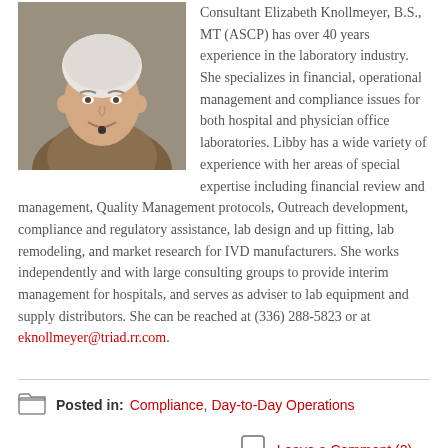[Figure (photo): Headshot photo of Elizabeth Knollmeyer, a woman with short white/gray hair, smiling, wearing a patterned top]
Consultant Elizabeth Knollmeyer, B.S., MT (ASCP) has over 40 years experience in the laboratory industry. She specializes in financial, operational management and compliance issues for both hospital and physician office laboratories. Libby has a wide variety of experience with her areas of special expertise including financial review and management, Quality Management protocols, Outreach development, compliance and regulatory assistance, lab design and up fitting, lab remodeling, and market research for IVD manufacturers. She works independently and with large consulting groups to provide interim management for hospitals, and serves as adviser to lab equipment and supply distributors. She can be reached at (336) 288-5823 or at eknollmeyer@triad.rr.com.
Posted in: Compliance, Day-to-Day Operations
Leave a Comment (2) →